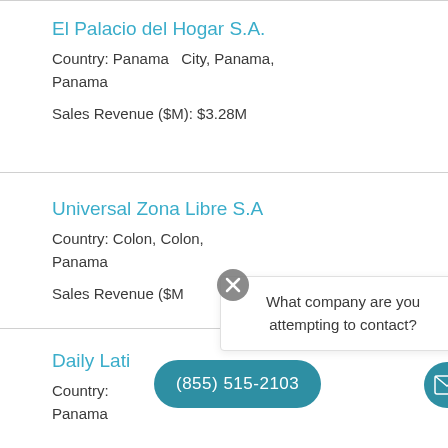El Palacio del Hogar S.A.
Country: Panama   City, Panama,
Panama
Sales Revenue ($M): $3.28M
Universal Zona Libre S.A
Country: Colon, Colon,
Panama
Sales Revenue ($M):
What company are you attempting to contact?
Daily Lati
Country:
Panama